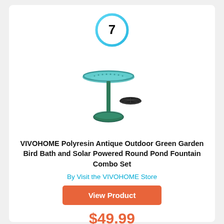[Figure (other): Circle with number 7 inside, outlined in cyan/blue gradient]
[Figure (photo): VIVOHOME polyresin antique green garden bird bath with solar powered round pond fountain combo set product photo]
VIVOHOME Polyresin Antique Outdoor Green Garden Bird Bath and Solar Powered Round Pond Fountain Combo Set
By Visit the VIVOHOME Store
View Product
$49.99